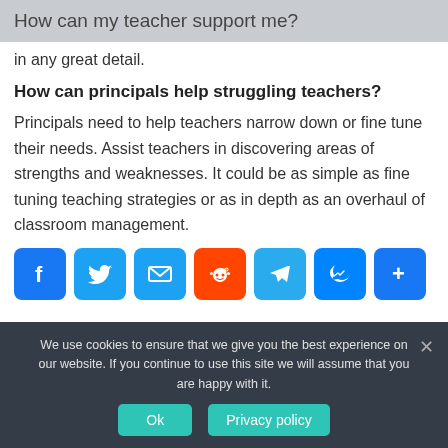How can my teacher support me?
in any great detail.
How can principals help struggling teachers?
Principals need to help teachers narrow down or fine tune their needs. Assist teachers in discovering areas of strengths and weaknesses. It could be as simple as fine tuning teaching strategies or as in depth as an overhaul of classroom management.
[Figure (infographic): Social share buttons: Facebook, Twitter, Email, Reddit, Telegram, Messenger, More]
We use cookies to ensure that we give you the best experience on our website. If you continue to use this site we will assume that you are happy with it. Ok  Privacy policy